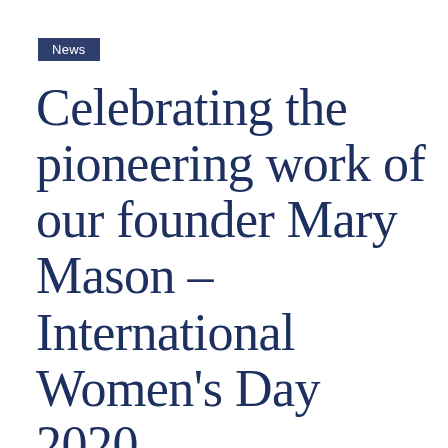News
Celebrating the pioneering work of our founder Mary Mason – International Women's Day 2020